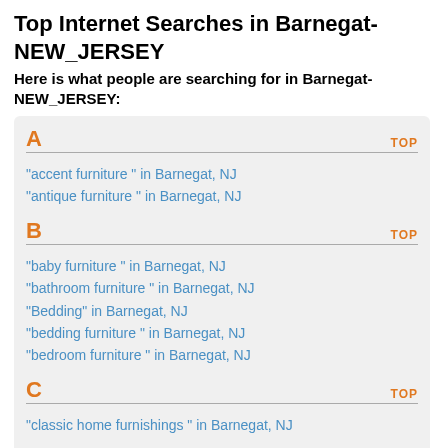Top Internet Searches in Barnegat-NEW_JERSEY
Here is what people are searching for in Barnegat-NEW_JERSEY:
A
"accent furniture " in Barnegat, NJ
"antique furniture " in Barnegat, NJ
B
"baby furniture " in Barnegat, NJ
"bathroom furniture " in Barnegat, NJ
"Bedding" in Barnegat, NJ
"bedding furniture " in Barnegat, NJ
"bedroom furniture " in Barnegat, NJ
C
"classic home furnishings " in Barnegat, NJ
D